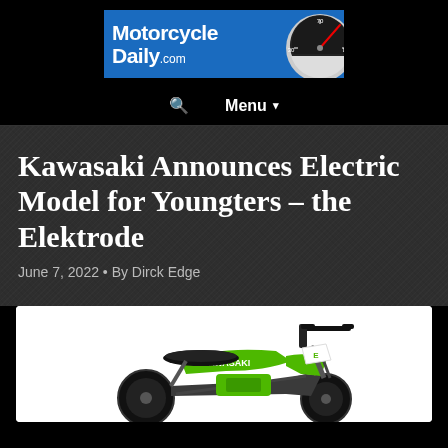[Figure (logo): MotorcycleDaily.com logo with speedometer graphic on black background]
🔍  Menu ▾
Kawasaki Announces Electric Model for Youngters – the Elektrode
June 7, 2022 • By Dirck Edge
[Figure (photo): Photo of Kawasaki Elektrode electric children's motorcycle in green color on white background]